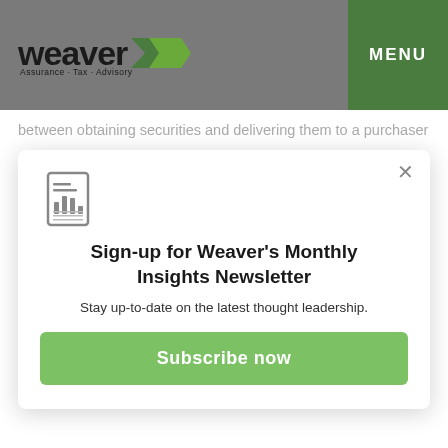weaver | Assurance · Tax · Advisory | MENU
between obtaining securities and delivering them to a purchaser
Amend the Mark-to-Market Rules for Dealers and Traders to Include Digital Assets
Sign-up for Weaver's Monthly Insights Newsletter
Stay up-to-date on the latest thought leadership.
Subscribe now
IRC Section 475 requires dealers and traders in securities and dealers and commodities to use the mark-to-market method of accounting. The Biden administration proposes to amend Section 475 to allow dealers or traders of digital assets to use the mark-to-market method of accounting for actively traded digital assets and their derivatives or hedges using rules similar to those that apply to commodities. The proposal would also provide